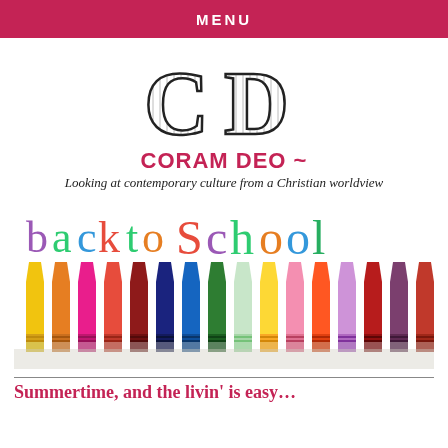MENU
[Figure (logo): Large hand-drawn style letters C and D forming the Coram Deo logo]
CORAM DEO ~
Looking at contemporary culture from a Christian worldview
[Figure (photo): Colorful back to school graphic with crayons lined up and text 'back to School' in multicolored handwritten letters above them]
Summertime, and the livin' is easy…